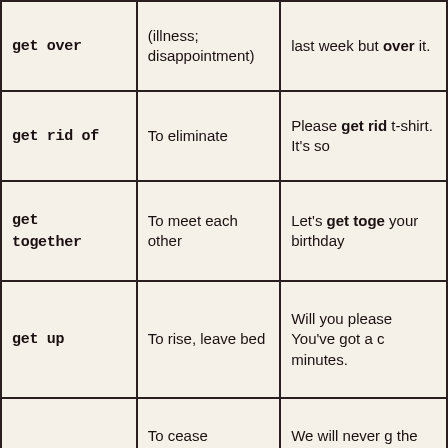| Phrasal Verb | Meaning | Example |
| --- | --- | --- |
| get over | (illness; disappointment) | last week but over it. |
| get rid of | To eliminate | Please get rid of t-shirt. It's so |
| get together | To meet each other | Let's get together your birthday |
| get up | To rise, leave bed | Will you please You've got a c minutes. |
| give in | To cease opposition; yieldTo To hand in; submit | We will never g the terrorists' demands.I'll gi paper tomorro |
|  | To stop doing | Morris gave u |